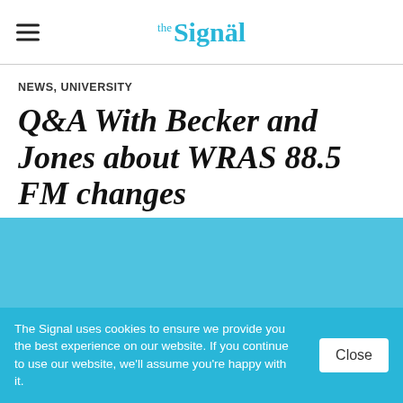the Signal
NEWS, UNIVERSITY
Q&A With Becker and Jones about WRAS 88.5 FM changes
On May 8, 2014 • By Ciara Frisbie
[Figure (photo): Light blue/cyan colored image block]
The Signal uses cookies to ensure we provide you the best experience on our website. If you continue to use our website, we'll assume you're happy with it.